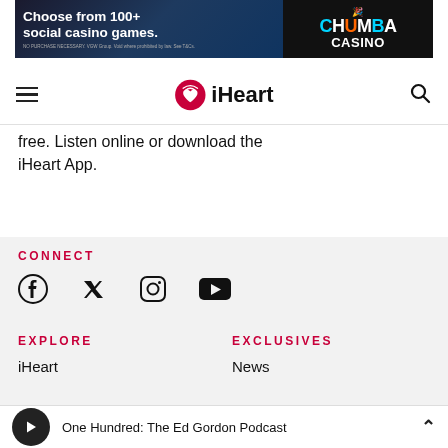[Figure (screenshot): Chumba Casino advertisement banner: 'Choose from 100+ social casino games' on left with game imagery, Chumba Casino logo on right in colorful text on black background]
iHeart
free. Listen online or download the iHeart App.
CONNECT
[Figure (illustration): Social media icons row: Facebook, Twitter, Instagram, YouTube]
EXPLORE
EXCLUSIVES
iHeart
News
One Hundred: The Ed Gordon Podcast